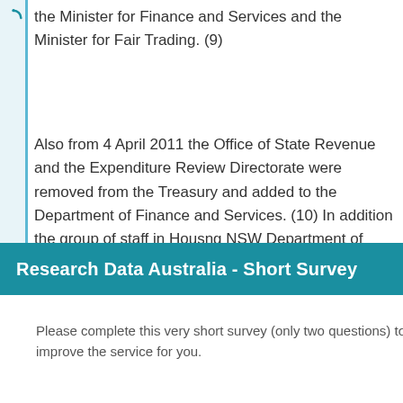the Minister for Finance and Services and the Minister for Fair Trading. (9)
Also from 4 April 2011 the Office of State Revenue and the Expenditure Review Directorate were removed from the Treasury and added to the Department of Finance and Services. (10) In addition the group of staff in Housng NSW Department of Human Services
[Figure (screenshot): A modal dialog overlay titled 'Research Data Australia - Short Survey' with teal header bar, survey invitation text, and action buttons: Start >>, Not now, Never]